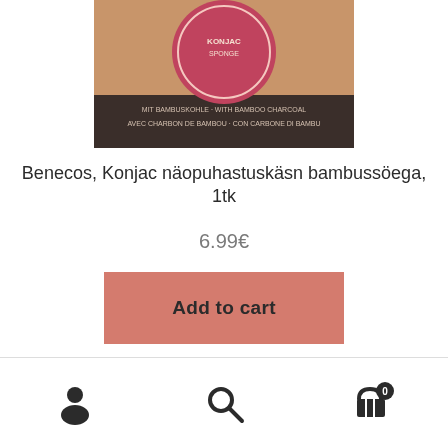[Figure (photo): Product image of Benecos Konjac face cleansing sponge with bamboo charcoal - shows packaging with circular badge and text in multiple languages on a tan/brown background]
Benecos, Konjac näopuhastuskäsn bambussöega, 1tk
6.99€
Add to cart
Navigation bar with user account icon, search icon, and cart icon with badge showing 0